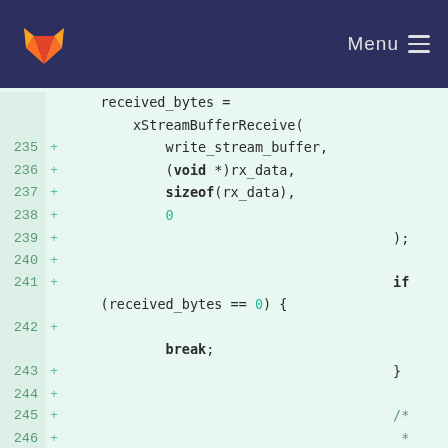GitLab navigation bar with logo and Menu button
[Figure (screenshot): Code diff view showing lines 235-246 of a C file with added lines (marked with +) containing xStreamBufferReceive function call, if block with break, and start of a comment block]
received_bytes =
  xStreamBufferReceive(
    write_stream_buffer,
    (void *)rx_data,
    sizeof(rx_data),
    0
  );
if (received_bytes == 0) {
    break;
}
/*
 *